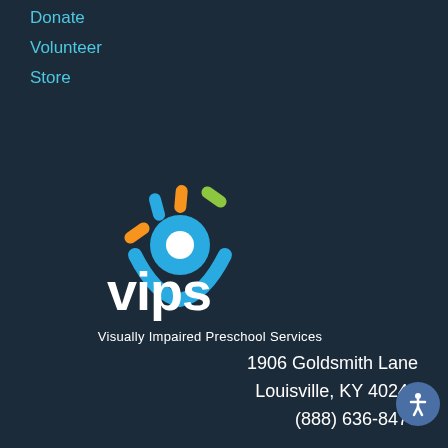Donate
Volunteer
Store
[Figure (logo): VIPS logo — colorful sun-ray eye icon above the word 'vips' in white, with 'Visually Impaired Preschool Services' beneath]
1906 Goldsmith Lane
Louisville, KY 40242
(888) 636-8477